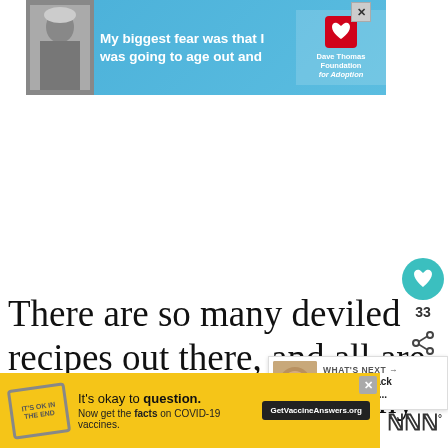[Figure (other): Advertisement banner for Dave Thomas Foundation for Adoption showing a black-and-white photo of a person with a winter hat, quote text 'My biggest fear was that I was going to age out and', and the Foundation's logo with a heart icon.]
There are so many deviled recipes out there, and all are so good! I like eggs for any occasion, but you can a le ter
[Figure (other): Floating heart/like button showing count of 33, and a share icon button]
[Figure (other): WHAT'S NEXT panel showing thumbnail of food item and title 'Cracked Black Pepper And...']
[Figure (other): Bottom advertisement: 'It's okay to question. Now get the facts on COVID-19 vaccines. GetVaccineAnswers.org' on yellow background with approval stamp graphic]
[Figure (logo): Site logo: three vertical bars with superscript circle (WWW°)]